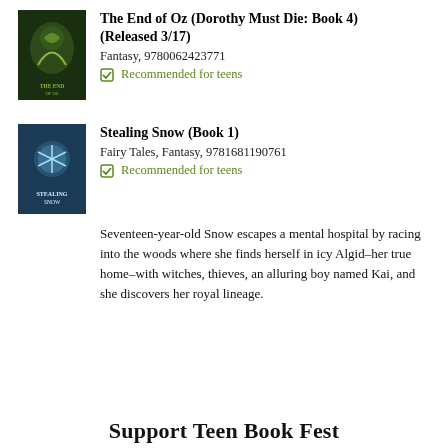[Figure (illustration): Book cover for The End of Oz (Dorothy Must Die: Book 4), dark green background with Oz imagery]
The End of Oz (Dorothy Must Die: Book 4) (Released 3/17)
Fantasy, 9780062423771
✔ Recommended for teens
[Figure (illustration): Book cover for Stealing Snow (Book 1), dark blue background with snow/mirror imagery]
Stealing Snow (Book 1)
Fairy Tales, Fantasy, 9781681190761
✔ Recommended for teens
Seventeen-year-old Snow escapes a mental hospital by racing into the woods where she finds herself in icy Algid–her true home–with witches, thieves, an alluring boy named Kai, and she discovers her royal lineage.
Support Teen Book Fest